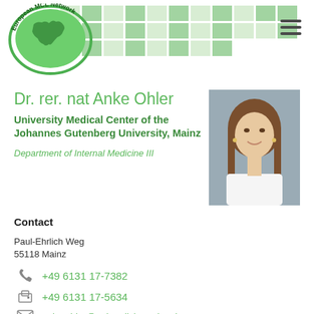[Figure (logo): European MCL Network circular logo with green oval border and map of Europe, with curved text reading 'European MCL Network']
Dr. rer. nat Anke Ohler
University Medical Center of the Johannes Gutenberg University, Mainz
Department of Internal Medicine III
[Figure (photo): Professional headshot of Dr. Anke Ohler, a woman with long brown hair, smiling, wearing a white top, against a grey background]
Contact
Paul-Ehrlich Weg
55118 Mainz
+49 6131 17-7382
+49 6131 17-5634
anke.ohler@unimedizin-mainz.de